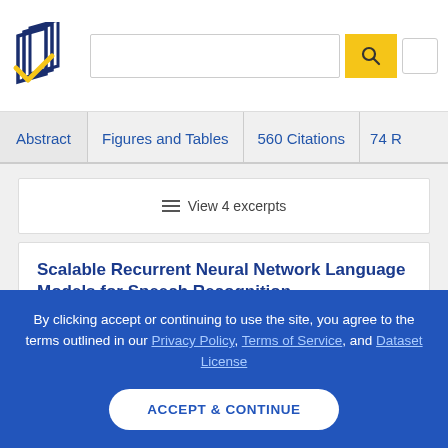[Figure (logo): Semantic Scholar logo — dark blue stylized book pages with yellow checkmark]
Abstract | Figures and Tables | 560 Citations | 74 R
≡ View 4 excerpts
Scalable Recurrent Neural Network Language Models for Speech Recognition
Xie Chen
By clicking accept or continuing to use the site, you agree to the terms outlined in our Privacy Policy, Terms of Service, and Dataset License
ACCEPT & CONTINUE